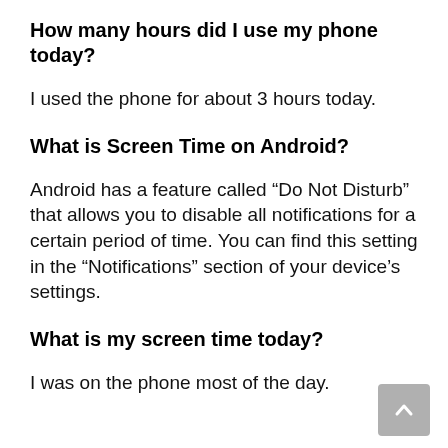How many hours did I use my phone today?
I used the phone for about 3 hours today.
What is Screen Time on Android?
Android has a feature called “Do Not Disturb” that allows you to disable all notifications for a certain period of time. You can find this setting in the “Notifications” section of your device’s settings.
What is my screen time today?
I was on the phone most of the day.